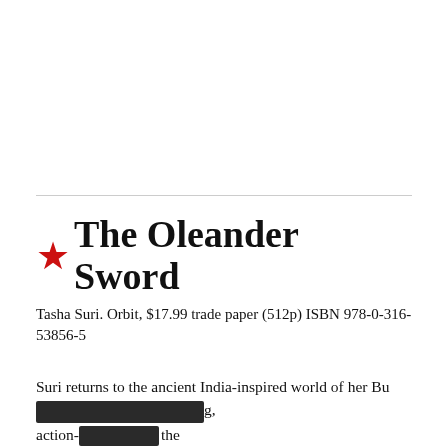★The Oleander Sword
Tasha Suri. Orbit, $17.99 trade paper (512p) ISBN 978-0-316-53856-5
Suri returns to the ancient India-inspired world of her Bu[redacted]g, action-[redacted]the